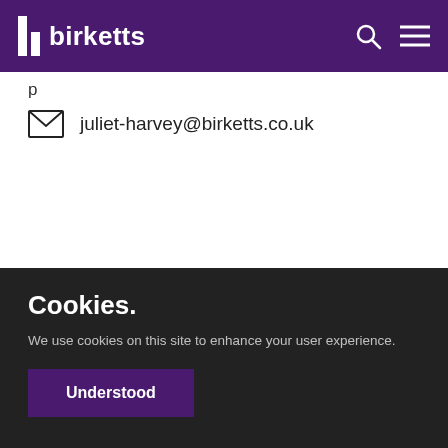birketts
juliet-harvey@birketts.co.uk
Cookies.
We use cookies on this site to enhance your user experience.
Understood